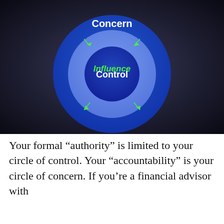[Figure (infographic): Concentric circles diagram showing three nested rings: outer ring labeled 'Concern' (dark blue), middle ring labeled 'Influence' (medium blue, green text), and inner circle labeled 'Control' (dark blue). Green arrows point inward and outward at the Influence ring boundary.]
Your formal “authority” is limited to your circle of control. Your “accountability” is your circle of concern. If you’re a financial advisor with